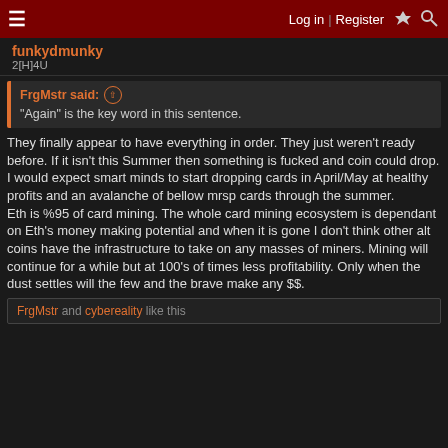Log in  Register
funkydmunky
2[H]4U
FrgMstr said: ↑
"Again" is the key word in this sentence.
They finally appear to have everything in order. They just weren't ready before. If it isn't this Summer then something is fucked and coin could drop. I would expect smart minds to start dropping cards in April/May at healthy profits and an avalanche of bellow mrsp cards through the summer.
Eth is %95 of card mining. The whole card mining ecosystem is dependant on Eth's money making potential and when it is gone I don't think other alt coins have the infrastructure to take on any masses of miners. Mining will continue for a while but at 100's of times less profitability. Only when the dust settles will the few and the brave make any $$.
FrgMstr and cybereality like this